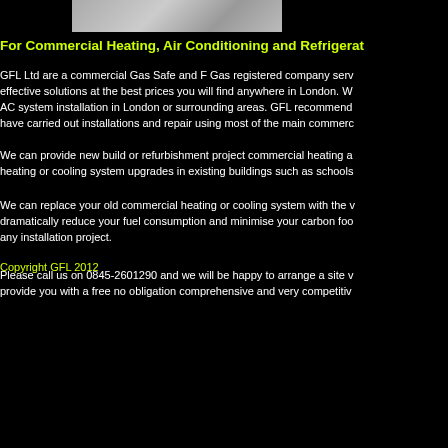[Figure (photo): Partial image of a person or equipment related to heating/refrigeration services, shown at the top of the page]
For Commercial Heating, Air Conditioning and Refrigerat
GFL Ltd are a commercial Gas Safe and F Gas registered company serv effective solutions at the best prices you will find anywhere in London. W AC system installation in London or surrounding areas. GFL recommend have carried out installations and repair using most of the main commerc
We can provide new build or refurbishment project commercial heating a heating or cooling system upgrades in existing buildings such as schools
We can replace your old commercial heating or cooling system with the v dramatically reduce your fuel consumption and minimise your carbon foo any installation project.
Please call us on 0845-2601290 and we will be happy to arrange a site v provide you with a free no obligation comprehensive and very competitiv
Copyright GFL 2012